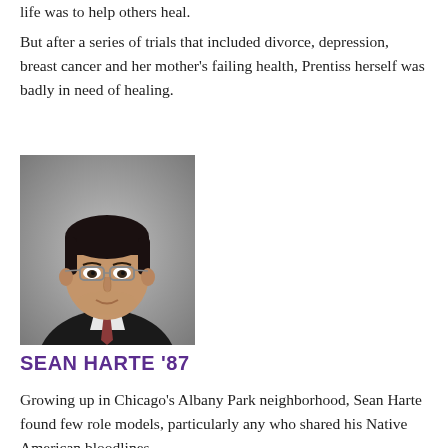life was to help others heal.
But after a series of trials that included divorce, depression, breast cancer and her mother’s failing health, Prentiss herself was badly in need of healing.
[Figure (photo): Portrait photo of Sean Harte, a man wearing glasses and a dark suit with a patterned tie, photographed against a gray background.]
SEAN HARTE ’87
Growing up in Chicago’s Albany Park neighborhood, Sean Harte found few role models, particularly any who shared his Native American bloodlines.